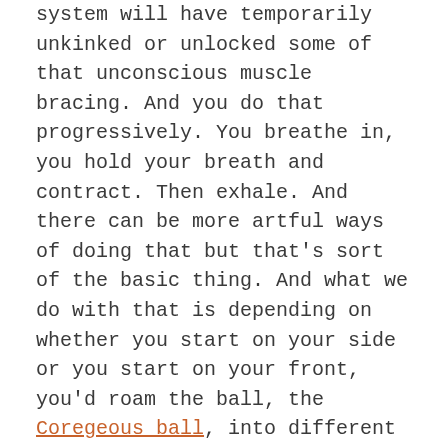system will have temporarily unkinked or unlocked some of that unconscious muscle bracing. And you do that progressively. You breathe in, you hold your breath and contract. Then exhale. And there can be more artful ways of doing that but that's sort of the basic thing. And what we do with that is depending on whether you start on your side or you start on your front, you'd roam the ball, the Coregeous ball, into different areas of your trunk to try to mobilize the unknown tensions, unknown inappropriate tensions between diaphragm and ribs and diaphragm and transversus abdominis.  So that would be the first thing so that you can get a sense of your full cycle of respiration. So respiration should occur all over your trunk. And although it only occurs in your lungs, but